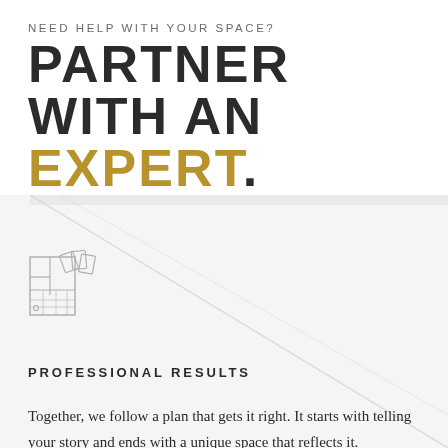NEED HELP WITH YOUR SPACE?
PARTNER WITH AN EXPERT.
[Figure (illustration): Line icon of a floor plan / design board with color swatches on an angled background panel]
PROFESSIONAL RESULTS
Together, we follow a plan that gets it right. It starts with telling your story and ends with a unique space that reflects it.